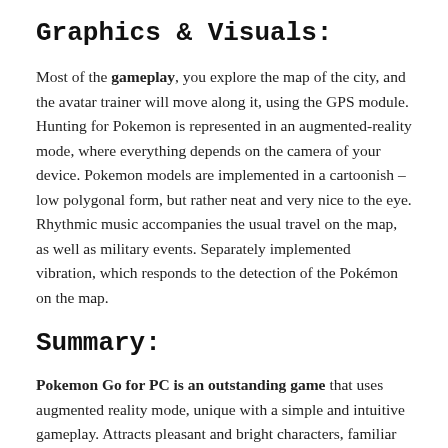Graphics & Visuals:
Most of the gameplay, you explore the map of the city, and the avatar trainer will move along it, using the GPS module. Hunting for Pokemon is represented in an augmented-reality mode, where everything depends on the camera of your device. Pokemon models are implemented in a cartoonish – low polygonal form, but rather neat and very nice to the eye. Rhythmic music accompanies the usual travel on the map, as well as military events. Separately implemented vibration, which responds to the detection of the Pokémon on the map.
Summary:
Pokemon Go for PC is an outstanding game that uses augmented reality mode, unique with a simple and intuitive gameplay. Attracts pleasant and bright characters, familiar from childhood. And to act in the role of Ash – the legendary coach of Pokémon is simply priceless! At the